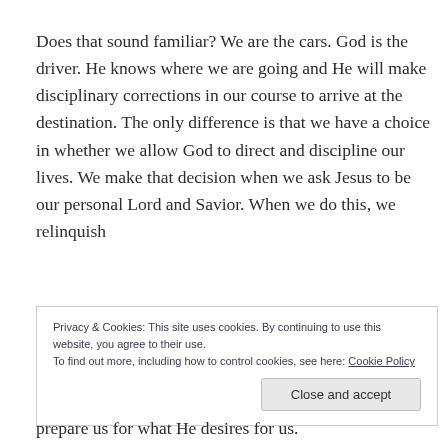Does that sound familiar? We are the cars. God is the driver. He knows where we are going and He will make disciplinary corrections in our course to arrive at the destination. The only difference is that we have a choice in whether we allow God to direct and discipline our lives. We make that decision when we ask Jesus to be our personal Lord and Savior. When we do this, we relinquish
Privacy & Cookies: This site uses cookies. By continuing to use this website, you agree to their use.
To find out more, including how to control cookies, see here: Cookie Policy
[Close and accept]
prepare us for what He desires for us.